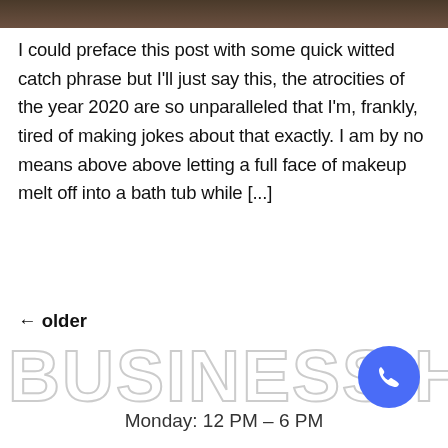[Figure (photo): Dark colored image strip at top of page]
I could preface this post with some quick witted catch phrase but I'll just say this, the atrocities of the year 2020 are so unparalleled that I'm, frankly, tired of making jokes about that exactly. I am by no means above above letting a full face of makeup melt off into a bath tub while [...]
← older
BUSINESS HOURS
Monday: 12 PM – 6 PM